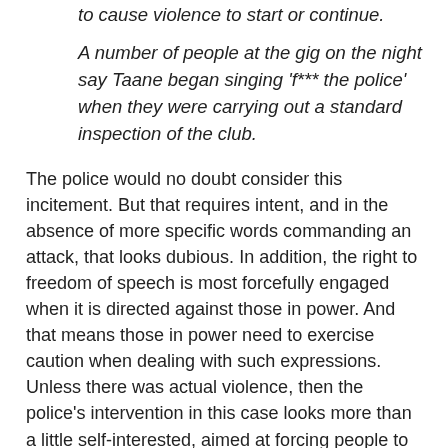to cause violence to start or continue.
A number of people at the gig on the night say Taane began singing 'f*** the police' when they were carrying out a standard inspection of the club.
The police would no doubt consider this incitement. But that requires intent, and in the absence of more specific words commanding an attack, that looks dubious. In addition, the right to freedom of speech is most forcefully engaged when it is directed against those in power. And that means those in power need to exercise caution when dealing with such expressions. Unless there was actual violence, then the police's intervention in this case looks more than a little self-interested, aimed at forcing people to respect their "authority" rather than protecting the public.
No matter what the police think, it is not a crime to dislike them, and it is not a crime to say so, publicly and forcefully, to their face. In a free and democratic society, that is something they just have to put up with, just as the Prime Minister does. If they can't, or won't, then they have no